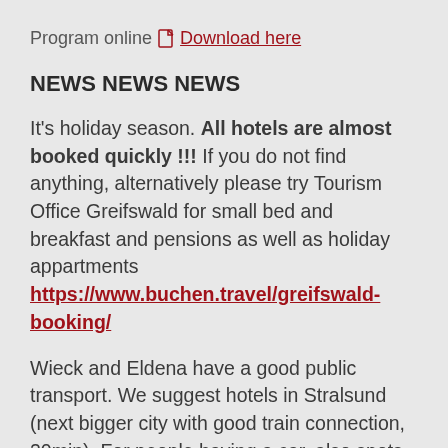Program online  Download here
NEWS NEWS NEWS
It's holiday season. All hotels are almost booked quickly !!! If you do not find anything, alternatively please try Tourism Office Greifswald for small bed and breakfast and pensions as well as holiday appartments https://www.buchen.travel/greifswald-booking/
Wieck and Eldena have a good public transport. We suggest hotels in Stralsund (next bigger city with good train connection, 20min). For people having a car, also spots around Greifswald are suggested (Lubmin, Loissin, Devin, Dargelin, ...).